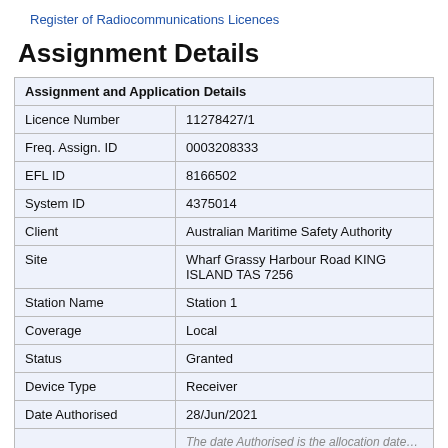Register of Radiocommunications Licences
Assignment Details
| Assignment and Application Details |  |
| --- | --- |
| Licence Number | 11278427/1 |
| Freq. Assign. ID | 0003208333 |
| EFL ID | 8166502 |
| System ID | 4375014 |
| Client | Australian Maritime Safety Authority |
| Site | Wharf Grassy Harbour Road KING ISLAND TAS 7256 |
| Station Name | Station 1 |
| Coverage | Local |
| Status | Granted |
| Device Type | Receiver |
| Date Authorised | 28/Jun/2021 |
|  |  |